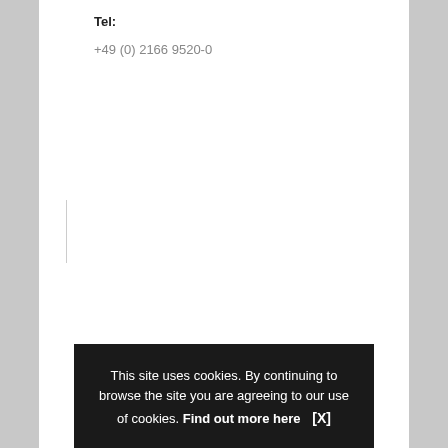Tel:
+49 (0) 2166 9520-0
This site uses cookies. By continuing to browse the site you are agreeing to our use of cookies. Find out more here    [X]